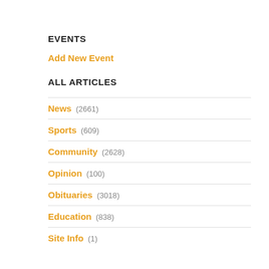EVENTS
Add New Event
ALL ARTICLES
News (2661)
Sports (609)
Community (2628)
Opinion (100)
Obituaries (3018)
Education (838)
Site Info (1)